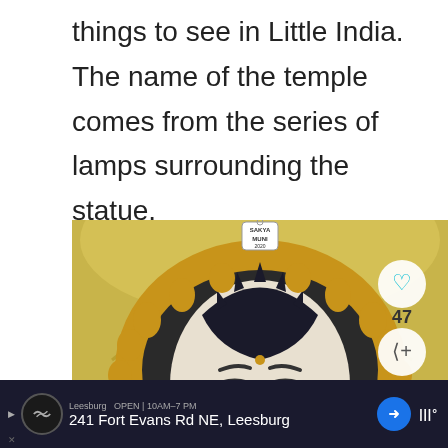things to see in Little India. The name of the temple comes from the series of lamps surrounding the statue.
[Figure (photo): Close-up photo of a large white Buddha statue face with a dark ornate crown, surrounded by a golden decorative halo with curling designs. The ceiling above is yellow/gold. A small sign reads 'SAKYA MUNI 2020'. An overlay shows a heart icon with '47', a share icon, and a 'WHAT'S NEXT - Best Things to Do in...' panel.]
Leesburg OPEN 10AM-7PM
241 Fort Evans Rd NE, Leesburg